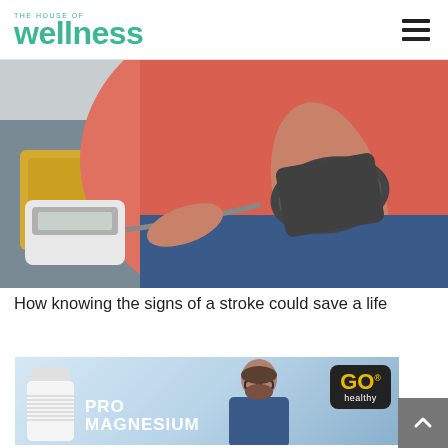THE HOUSE OF wellness
[Figure (photo): Person sitting on a couch wearing a pink sweater and jeans, with a blood pressure monitor cuff on their upper arm. Yellow cushion visible in background.]
How knowing the signs of a stroke could save a life
[Figure (photo): GO Healthy supplement advertisement showing a man with glasses, a white pill bottle, and text reading PRO MAGNESIUM]